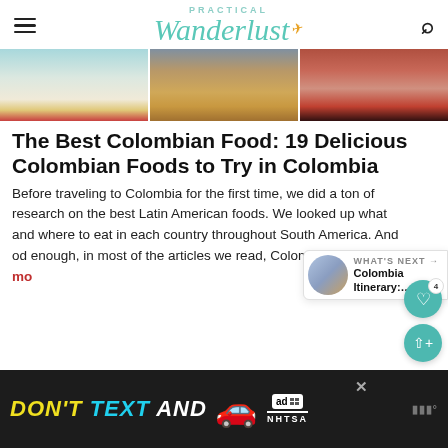Practical Wanderlust
[Figure (photo): Three food photos showing Colombian dishes: a bowl with colorful garnishes, fried food on a plate, and a dark stew/soup in a bowl]
The Best Colombian Food: 19 Delicious Colombian Foods to Try in Colombia
Before traveling to Colombia for the first time, we did a ton of research on the best Latin American foods. We looked up what and where to eat in each country throughout South America. And oddly enough, in most of the articles we read, Colombia … [Read more]
WHAT'S NEXT → Colombia Itinerary:…
[Figure (screenshot): DON'T TEXT AND [drive] - NHTSA advertisement banner at bottom of page]